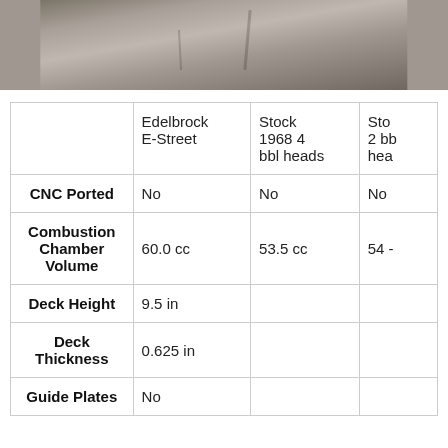[Figure (photo): Grayscale/concrete textured surface photo strip at top of page]
|  | Edelbrock E-Street | Stock 1968 4 bbl heads | Sto... 2 bb... hea... |
| --- | --- | --- | --- |
| CNC Ported | No | No | No |
| Combustion Chamber Volume | 60.0 cc | 53.5 cc | 54 - |
| Deck Height | 9.5 in |  |  |
| Deck Thickness | 0.625 in |  |  |
| Guide Plates | No |  |  |